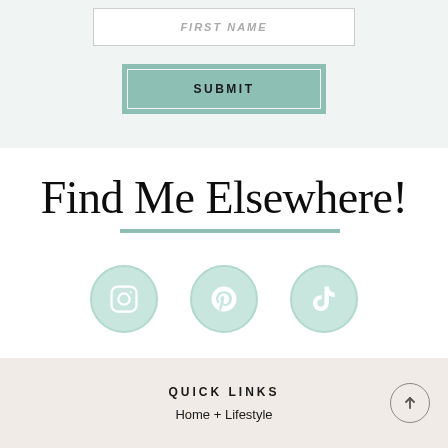[Figure (screenshot): Input field with placeholder text FIRST NAME]
[Figure (screenshot): Submit button with teal background and inner border]
Find Me Elsewhere!
[Figure (infographic): Three teal circular social media icons: Instagram, Pinterest, TikTok]
QUICK LINKS
Home + Lifestyle